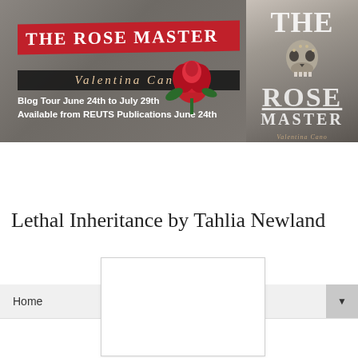[Figure (illustration): Blog tour banner for 'The Rose Master' by Valentina Cano. Left side has dark stone texture background with a large red box containing title 'THE ROSE MASTER', a dark bar with author name 'Valentina Cano' in italic, tour dates 'Blog Tour June 24th to July 29th' and 'Available from REUTS Publications June 24th', and a red rose. Right side shows the book cover with skull imagery and large white/grey text 'THE ROSE MASTER' and 'Valentina Cano'.]
Home ▼
Thursday, December 6, 2012
Lethal Inheritance by Tahlia Newland
[Figure (illustration): Book cover image placeholder (white rectangle)]